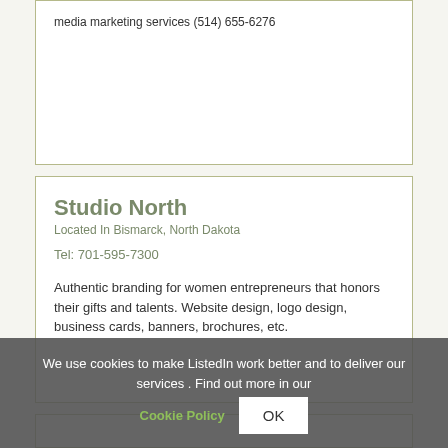media marketing services (514) 655-6276
Studio North
Located In Bismarck, North Dakota
Tel: 701-595-7300
Authentic branding for women entrepreneurs that honors their gifts and talents. Website design, logo design, business cards, banners, brochures, etc.
We use cookies to make ListedIn work better and to deliver our services . Find out more in our Cookie Policy OK